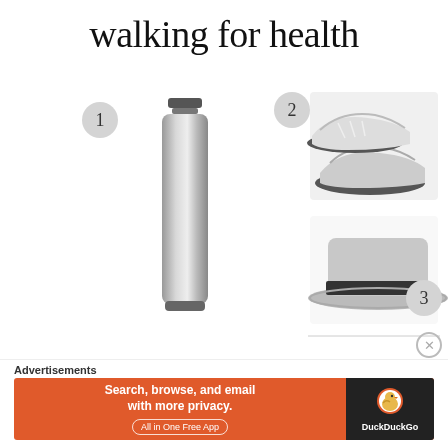walking for health
[Figure (infographic): Three numbered items for walking: 1) a stainless steel water bottle, 2) a pair of white/grey running sneakers, 3) a straw boater hat with black band. Each item has a grey numbered circle badge.]
What you need for
Advertisements
[Figure (infographic): DuckDuckGo advertisement banner: orange background on left with text 'Search, browse, and email with more privacy. All in One Free App', dark right panel with DuckDuckGo duck logo and brand name.]